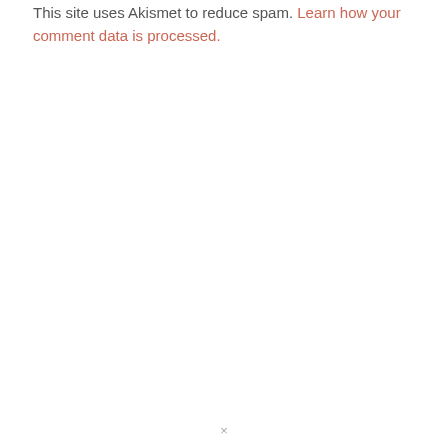This site uses Akismet to reduce spam. Learn how your comment data is processed.
×